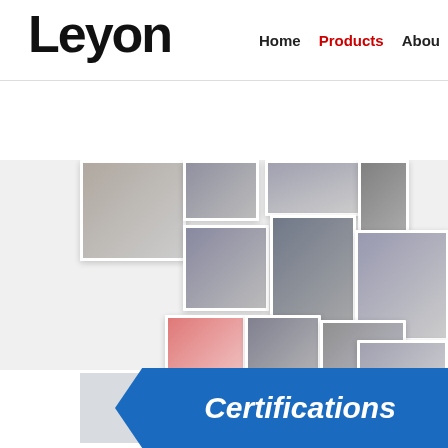Leyon — Home | Products | About
[Figure (photo): Collage of multiple event/exhibition photos arranged in a scattered grid layout over a light grey background]
Certifications